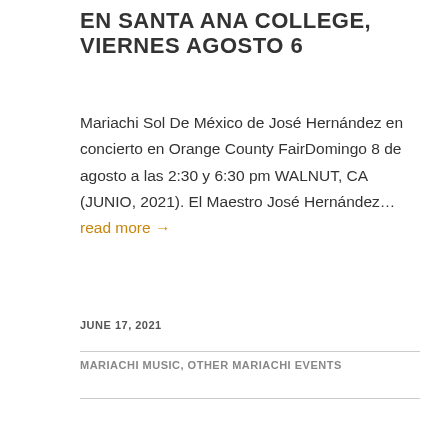EN SANTA ANA COLLEGE, VIERNES AGOSTO 6
Mariachi Sol De México de José Hernández en concierto en Orange County FairDomingo 8 de agosto a las 2:30 y 6:30 pm WALNUT, CA (JUNIO, 2021). El Maestro José Hernández… read more →
JUNE 17, 2021
MARIACHI MUSIC, OTHER MARIACHI EVENTS